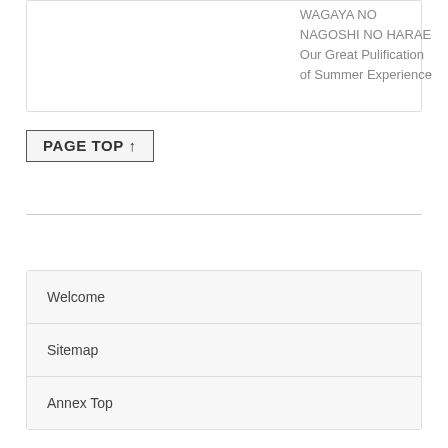WAGAYA NO
NAGOSHI NO HARAE
Our Great Pulification
of Summer Experience
PAGE TOP ↑
Welcome
Sitemap
Annex Top